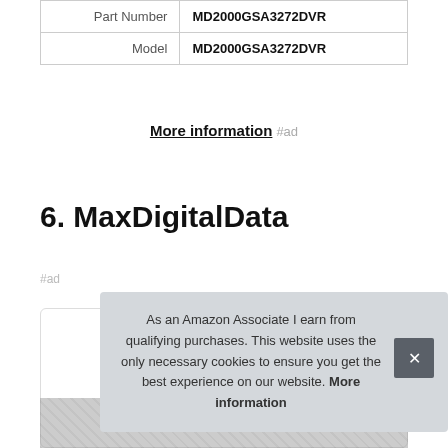| Part Number | MD2000GSA3272DVR |
| Model | MD2000GSA3272DVR |
More information #ad
6. MaxDigitalData
#ad
As an Amazon Associate I earn from qualifying purchases. This website uses the only necessary cookies to ensure you get the best experience on our website. More information × (close button)